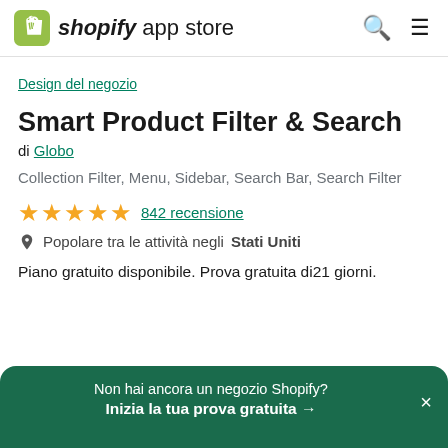shopify app store
Design del negozio
Smart Product Filter & Search
di Globo
Collection Filter, Menu, Sidebar, Search Bar, Search Filter
★★★★★ 842 recensione
Popolare tra le attività negli Stati Uniti
Piano gratuito disponibile. Prova gratuita di21 giorni.
Non hai ancora un negozio Shopify? Inizia la tua prova gratuita →